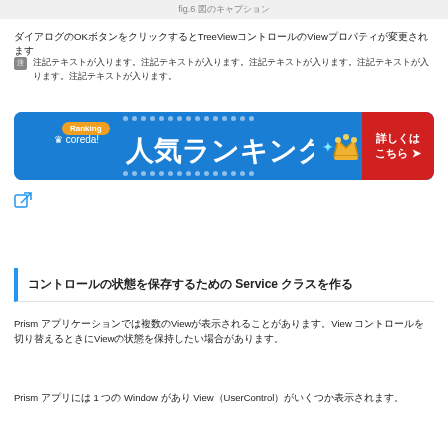fig.6 図のキャプション
ダイアログのOKボタンをクリックするとTreeViewコントロールのViewプロパティが変更されます
注記テキストが入ります。注記テキストが入ります。注記テキストが入ります。注記テキストが入ります。注記テキストが入ります。
[Figure (infographic): Coreda! 人気ランキング banner with blue background, orange Ranking badge, crown icon, sparkles, and red 詳しくはこちら button]
[Figure (other): Edit/external link icon]
コントロールの状態を保存するための Service クラスを作る
Prism アプリケーションでは複数のViewが表示されることがあります。View コントロールを切り替えるときにViewの状態を保持したい場合があります。
Prism アプリには 1 つの Window があり View（UserControl）がいくつか表示されます。